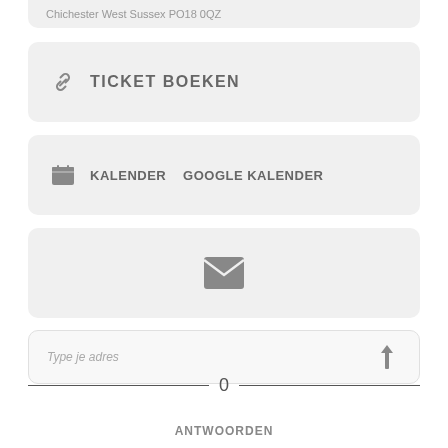Chichester West Sussex PO18 0QZ
TICKET BOEKEN
KALENDER   GOOGLE KALENDER
[Figure (other): Email envelope icon inside a grey card]
Type je adres
0
ANTWOORDEN